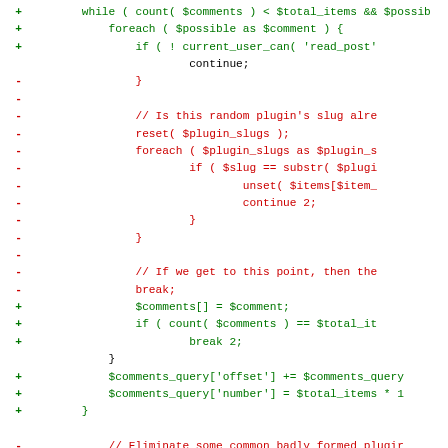[Figure (screenshot): Code diff view showing PHP code changes. Lines marked with '+' are additions in green, lines marked with '-' are deletions in red. The code shows a while/foreach loop iterating over comments and plugin slugs, with logic for filtering items and querying comments.]